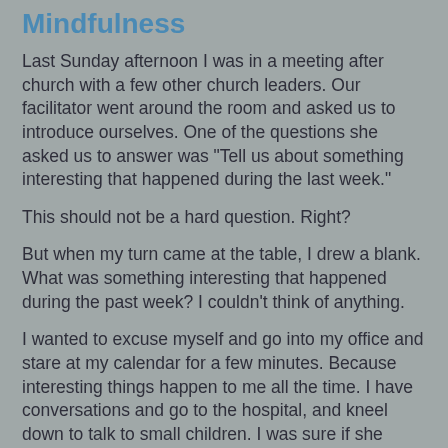Mindfulness
Last Sunday afternoon I was in a meeting after church with a few other church leaders.  Our facilitator went around the room and asked us to introduce ourselves.  One of the questions she asked us to answer was "Tell us about something interesting that happened during the last week."
This should not be a hard question.  Right?
But when my turn came at the table, I drew a blank.  What was something interesting that happened during the past week?  I couldn't think of anything.
I wanted to excuse myself and go into my office and stare at my calendar for a few minutes.  Because interesting things happen to me all the time.  I have conversations and go to the hospital, and kneel down to talk to small children.  I was sure if she could give me a minute I could think of something.
I felt like somehow, I had not been present during the past